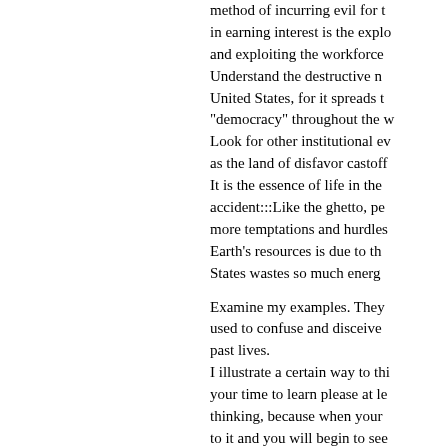method of incurring evil for t... in earning interest is the explo... and exploiting the workforce ... Understand the destructive n... United States, for it spreads t... "democracy" throughout the w... Look for other institutional ev... as the land of disfavor castof... It is the essence of life in the ... accident:::Like the ghetto, pe... more temptations and hurdles... Earth's resources is due to th... States wastes so much energ...
Examine my examples. They ... used to confuse and disceive... past lives. I illustrate a certain way to thi... your time to learn please at le... thinking, because when your ... to it and you will begin to see ... their positioning. Nobody is going to save you.... thinking correctly will you hav...